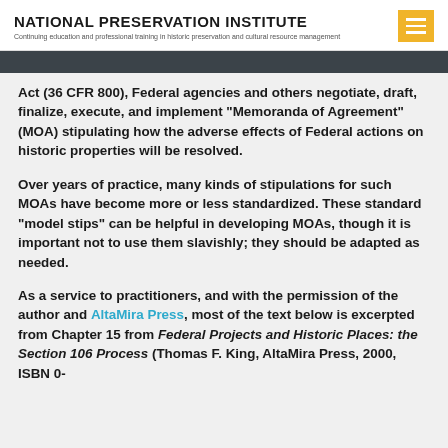NATIONAL PRESERVATION INSTITUTE
Continuing education and professional training in historic preservation and cultural resource management
Act (36 CFR 800), Federal agencies and others negotiate, draft, finalize, execute, and implement "Memoranda of Agreement" (MOA) stipulating how the adverse effects of Federal actions on historic properties will be resolved.
Over years of practice, many kinds of stipulations for such MOAs have become more or less standardized. These standard "model stips" can be helpful in developing MOAs, though it is important not to use them slavishly; they should be adapted as needed.
As a service to practitioners, and with the permission of the author and AltaMira Press, most of the text below is excerpted from Chapter 15 from Federal Projects and Historic Places: the Section 106 Process (Thomas F. King, AltaMira Press, 2000, ISBN 0-